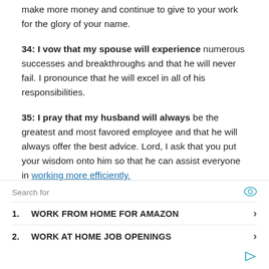make more money and continue to give to your work for the glory of your name.
34: I vow that my spouse will experience numerous successes and breakthroughs and that he will never fail. I pronounce that he will excel in all of his responsibilities.
35: I pray that my husband will always be the greatest and most favored employee and that he will always offer the best advice. Lord, I ask that you put your wisdom onto him so that he can assist everyone in working more efficiently.
[Figure (other): Search advertisement box with eye icon, two search results (1. WORK FROM HOME FOR AMAZON, 2. WORK AT HOME JOB OPENINGS) with chevron arrows, and a play icon at bottom right.]